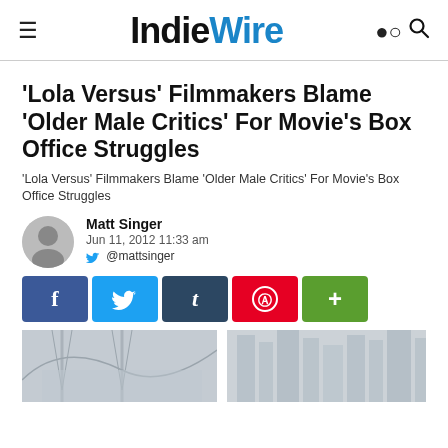IndieWire
'Lola Versus' Filmmakers Blame 'Older Male Critics' For Movie's Box Office Struggles
'Lola Versus' Filmmakers Blame 'Older Male Critics' For Movie's Box Office Struggles
Matt Singer
Jun 11, 2012 11:33 am
@mattsinger
[Figure (infographic): Social share buttons: Facebook (f), Twitter (bird), Tumblr (t), Pinterest (circle with p), Plus (+)]
[Figure (photo): Two side-by-side cityscape images, partially cropped at the bottom of the page]